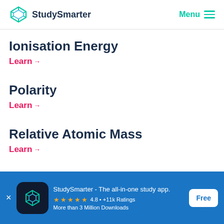StudySmarter | Menu
Ionisation Energy
Learn →
Polarity
Learn →
Relative Atomic Mass
Learn →
StudySmarter - The all-in-one study app.
★★★★★ 4.8 • +11k Ratings
More than 3 Million Downloads